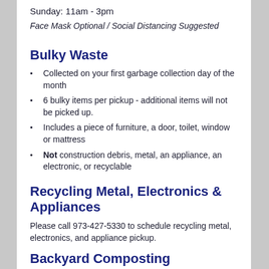Sunday: 11am - 3pm
Face Mask Optional / Social Distancing Suggested
Bulky Waste
Collected on your first garbage collection day of the month
6 bulky items per pickup - additional items will not be picked up.
Includes a piece of furniture, a door, toilet, window or mattress
Not construction debris, metal, an appliance, an electronic, or recyclable
Recycling Metal, Electronics & Appliances
Please call 973-427-5330 to schedule recycling metal, electronics, and appliance pickup.
Backyard Composting